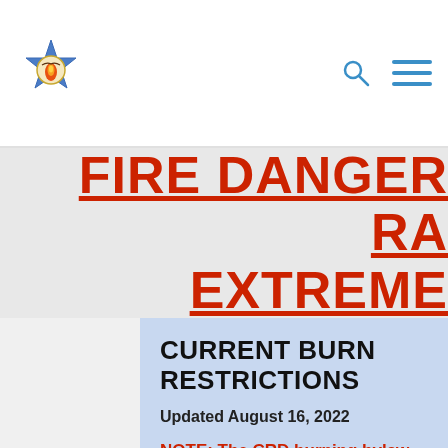[Figure (logo): Fire department or regional district star-shaped badge logo with flame and eagle imagery]
FIRE DANGER RATING: EXTREME
CURRENT BURN RESTRICTIONS
Updated August 16, 2022
NOTE: The CRD burning bylaw exists to regulate the burning of yard waste, plant and debris, not trash